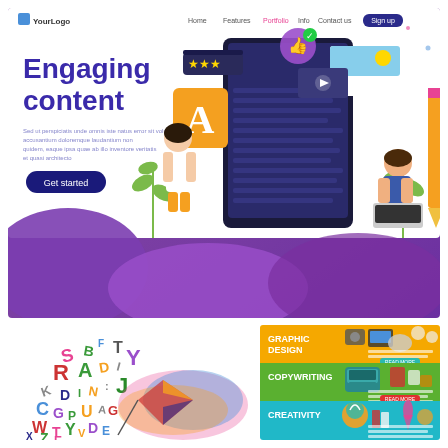[Figure (illustration): Website landing page mockup illustration showing 'Engaging content' headline in bold blue text with purple/blue gradient background, two illustrated characters interacting with a large tablet device showing design elements (letter A, star ratings, video thumbnail), decorative plants, lorem ipsum placeholder text, and a 'Get started' button. Navigation bar at top with YourLogo, Home, Features, Portfolio, Info, Contact us, Sign up links.]
[Figure (illustration): Colorful scattered alphabet letters illustration on white background (typography/creative writing concept), accompanied by a colorful abstract watercolor/ink splash with kite or paper design in red, blue, yellow colors]
[Figure (infographic): Three horizontal banner sections on colored backgrounds: 1) Yellow/orange background - 'GRAPHIC DESIGN' in bold white text with camera, monitor, color palette icons and placeholder text with 'READ MORE' teal button. 2) Green background - 'COPYWRITING' in bold white text with vintage typewriter illustration and placeholder text with 'READ MORE' red button. 3) Teal/cyan background - 'CREATIVITY' in bold white text with light bulb head illustration, books, and placeholder text.]